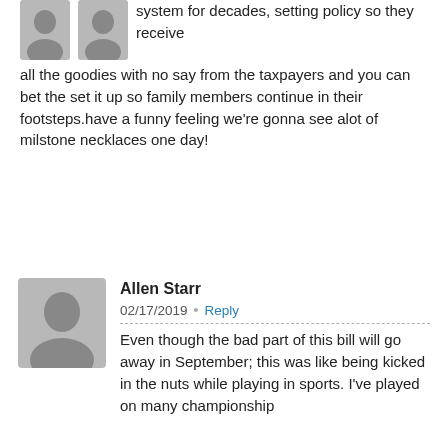system for decades, setting policy so they receive all the goodies with no say from the taxpayers and you can bet the set it up so family members continue in their footsteps.have a funny feeling we're gonna see alot of milstone necklaces one day!
Allen Starr  02/17/2019 • Reply
Even though the bad part of this bill will go away in September; this was like being kicked in the nuts while playing in sports. I've played on many championship teams against dirty players and you must just take a few deep breathes to recover and get up and play. We were better and always won and winning was always our number one priority and you only got even when the chance presented itself. This is a little different in that this is a game you must win. I don't have to worry about it because I live in Russia protected by Putin who, also loses some small battles but wins the war. This is a great place to be living at this time in life with the Russian people. I just renewed my US Passport and received my Russian Residence Permit this month which is good for another 5 years.